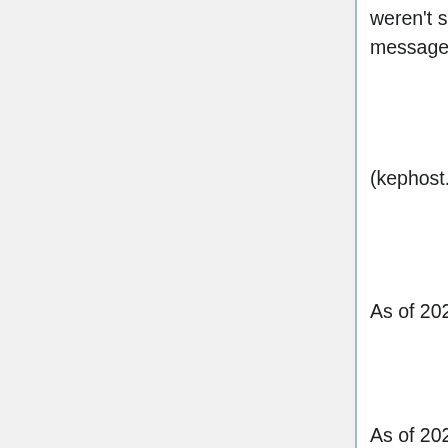weren't served, but any request to gtfkephost.hu resulted in the above message and redirect.
(kephost.net seems to be another image hosting service, started in 2020.)
As of 2021-01-01, 403 and 404 errors were returned for any URLs.
As of 2021-01-09, the main page informs the user about the shutdown, then after 10 seconds redirects to kephost.net.
| Original Hungarian | English translation |
| --- | --- |
| Az oldal bezárt! A GTFKéphost megszünt. A Jövőben nem lehet képeket feltölteni, azonban a meglévő képek nem lesznek | The website closed! GTFKéphost ceased operation. No more images can be uploaded in the future, but existing images will |